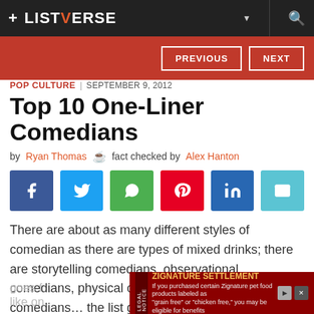+ LISTVERSE
PREVIOUS | NEXT
POP CULTURE | SEPTEMBER 9, 2012
Top 10 One-Liner Comedians
by Ryan Thomas   fact checked by Alex Hanton
[Figure (infographic): Social sharing buttons: Facebook, Twitter, WhatsApp, Pinterest, LinkedIn, Email]
There are about as many different styles of comedian as there are types of mixed drinks; there are storytelling comedians, observational comedians, physical comedians, socio-political comedians... the list goes on. But no shot goes f... um – like on... short,
[Figure (infographic): Advertisement banner: ZIGNATURE SETTLEMENT - LEGAL NOTICE. If you purchased certain Zignature pet food products labeled as 'grain free' or 'chicken free,' you may be eligible for benefits]